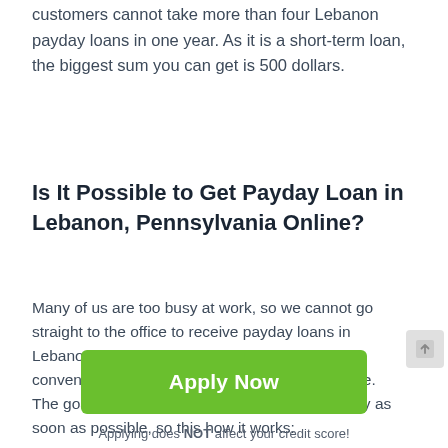customers cannot take more than four Lebanon payday loans in one year. As it is a short-term loan, the biggest sum you can get is 500 dollars.
Is It Possible to Get Payday Loan in Lebanon, Pennsylvania Online?
Many of us are too busy at work, so we cannot go straight to the office to receive payday loans in Lebanon, PA. That is why there is another convenient service which is Payday Loans Online. The goal of the company is to deliver your money as soon as possible, so this how it works:
[Figure (other): Green 'Apply Now' button]
Applying does NOT affect your credit score!
No credit check to apply.